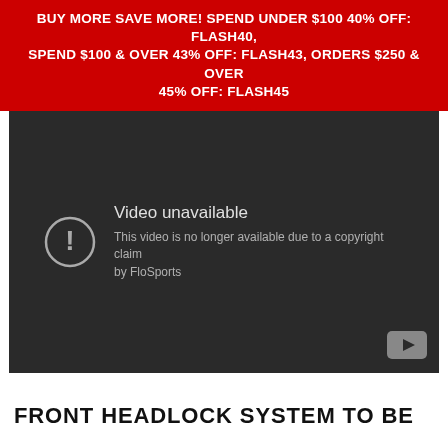BUY MORE SAVE MORE! SPEND UNDER $100 40% OFF: FLASH40, SPEND $100 & OVER 43% OFF: FLASH43, ORDERS $250 & OVER 45% OFF: FLASH45
[Figure (screenshot): Embedded video player showing 'Video unavailable' error message: 'This video is no longer available due to a copyright claim by FloSports' with a warning icon and YouTube logo.]
FRONT HEADLOCK SYSTEM TO BE